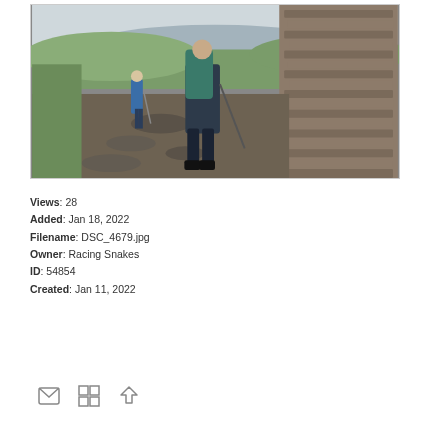[Figure (photo): Two hikers on a rocky trail beside a stone wall. The foreground hiker wears a large backpack and uses a trekking pole, leaning forward on a rugged path. A second hiker is visible further back on the trail. Green hillside and distant coastline with water visible in the background under a cloudy sky.]
Views: 28
Added: Jan 18, 2022
Filename: DSC_4679.jpg
Owner: Racing Snakes
ID: 54854
Created: Jan 11, 2022